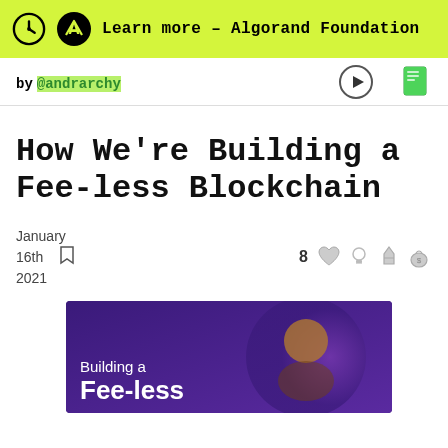Learn more – Algorand Foundation
by @andrarchy
How We're Building a Fee-less Blockchain
January 16th 2021
8 reactions
[Figure (photo): Hero image with dark purple background showing a person and text 'Building a Fee-less']